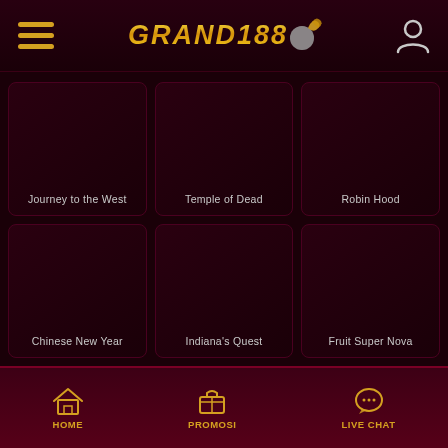GRAND188 header with hamburger menu and user icon
[Figure (screenshot): Game card: Journey to the West]
[Figure (screenshot): Game card: Temple of Dead]
[Figure (screenshot): Game card: Robin Hood]
[Figure (screenshot): Game card: Chinese New Year]
[Figure (screenshot): Game card: Indiana's Quest]
[Figure (screenshot): Game card: Fruit Super Nova]
HOME | PROMOSI | LIVE CHAT